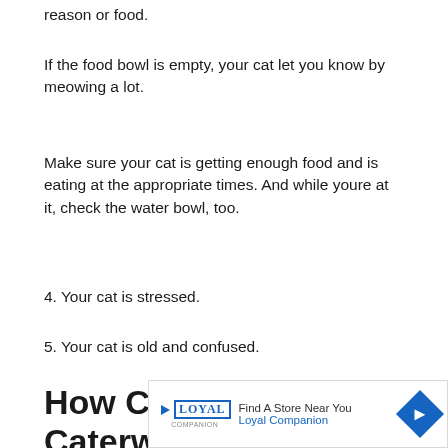reason or food.
If the food bowl is empty, your cat let you know by meowing a lot.
Make sure your cat is getting enough food and is eating at the appropriate times. And while youre at it, check the water bowl, too.
4. Your cat is stressed.
5. Your cat is old and confused.
How Can I Make Caterwauling Stop
[Figure (other): Advertisement banner for Loyal Companion pet store with 'Find A Store Near You' text and navigation arrow icon.]